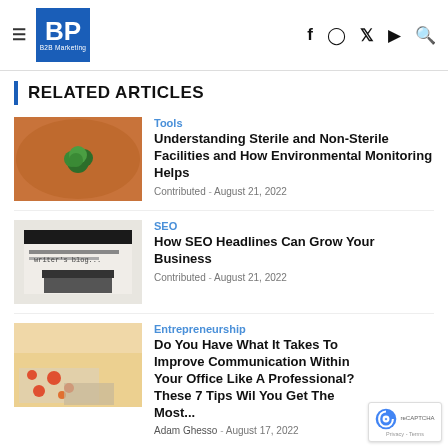BP B2B Marketing
RELATED ARTICLES
[Figure (photo): Aerial view of a lone green tree in a dry orange/brown field]
Tools
Understanding Sterile and Non-Sterile Facilities and How Environmental Monitoring Helps
Contributed - August 21, 2022
[Figure (photo): Close-up of a typewriter with paper reading 'writer's blog...']
SEO
How SEO Headlines Can Grow Your Business
Contributed - August 21, 2022
[Figure (photo): Hands on keyboard with social media icons floating above]
Entrepreneurship
Do You Have What It Takes To Improve Communication Within Your Office Like A Professional? These 7 Tips Wil You Get The Most...
Adam Ghesso - August 17, 2022